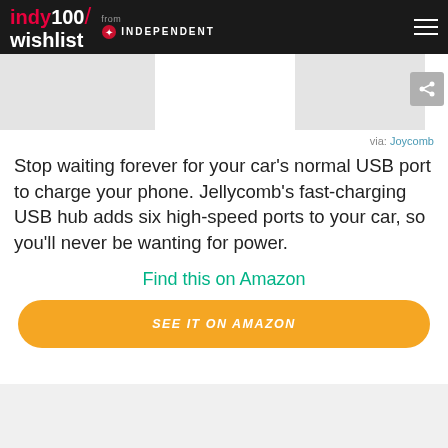indy100/ wishlist from INDEPENDENT
[Figure (photo): Partial product images of USB hub/charger on white background, with a share button on the right]
via: Joycomb
Stop waiting forever for your car's normal USB port to charge your phone. Jellycomb's fast-charging USB hub adds six high-speed ports to your car, so you'll never be wanting for power.
Find this on Amazon
SEE IT ON AMAZON